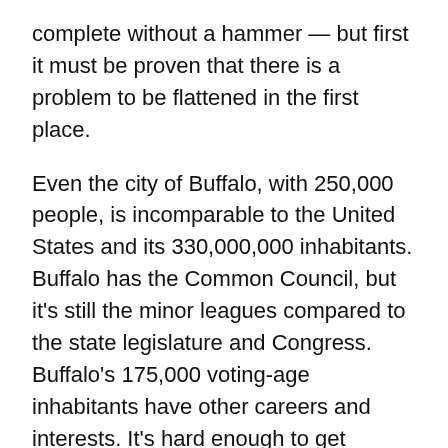complete without a hammer — but first it must be proven that there is a problem to be flattened in the first place.
Even the city of Buffalo, with 250,000 people, is incomparable to the United States and its 330,000,000 inhabitants. Buffalo has the Common Council, but it's still the minor leagues compared to the state legislature and Congress. Buffalo's 175,000 voting-age inhabitants have other careers and interests. It's hard enough to get people to vote (20% turnout in the mayoral primary!), let alone run for public office.
The smaller the jurisdiction, the less sense term limits make. There are three assumptions that proponents make, all of which are more sound at the federal level. First, that there is a supply of